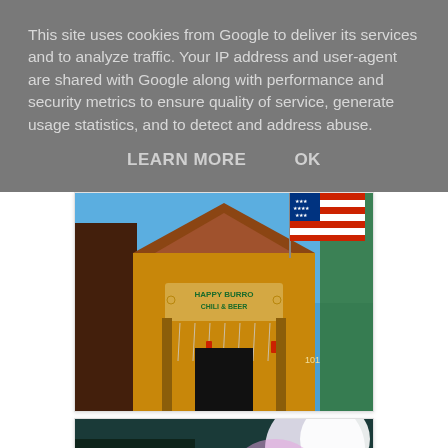This site uses cookies from Google to deliver its services and to analyze traffic. Your IP address and user-agent are shared with Google along with performance and security metrics to ensure quality of service, generate usage statistics, and to detect and address abuse.
LEARN MORE    OK
[Figure (photo): Exterior photo of the Happy Burro Chili & Beer establishment, a rustic wooden building with an American flag flying above it, under a blue sky with trees in the background.]
[Figure (photo): A partially visible photo showing trees and sky with bright sunlight.]